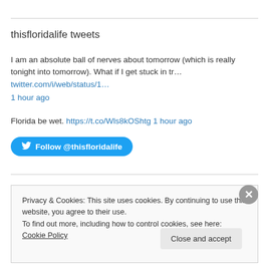thisfloridalife tweets
I am an absolute ball of nerves about tomorrow (which is really tonight into tomorrow). What if I get stuck in tr… twitter.com/i/web/status/1… 1 hour ago
Florida be wet. https://t.co/Wls8kOShtg 1 hour ago
Follow @thisfloridalife
Privacy & Cookies: This site uses cookies. By continuing to use this website, you agree to their use.
To find out more, including how to control cookies, see here: Cookie Policy
Close and accept